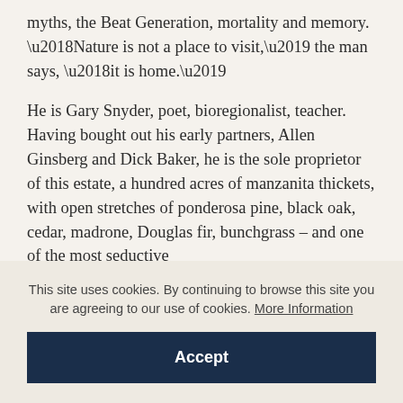myths, the Beat Generation, mortality and memory. ‘Nature is not a place to visit,’ the man says, ‘it is home.’
He is Gary Snyder, poet, bioregionalist, teacher. Having bought out his early partners, Allen Ginsberg and Dick Baker, he is the sole proprietor of this estate, a hundred acres of manzanita thickets, with open stretches of ponderosa pine, black oak, cedar, madrone, Douglas fir, bunchgrass – and one of the most seductive
This site uses cookies. By continuing to browse this site you are agreeing to our use of cookies. More Information
Accept